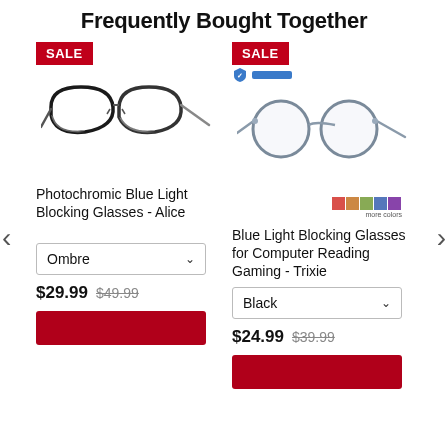Frequently Bought Together
[Figure (photo): Product photo of Photochromic Blue Light Blocking Glasses - Alice, dark gradient frames on white background, with SALE badge]
[Figure (photo): Product photo of Blue Light Blocking Glasses for Computer Reading Gaming - Trixie, round grey frames on white background, with SALE badge and color swatches]
Photochromic Blue Light Blocking Glasses - Alice
Blue Light Blocking Glasses for Computer Reading Gaming - Trixie
Ombre
Black
$29.99  $49.99
$24.99  $39.99